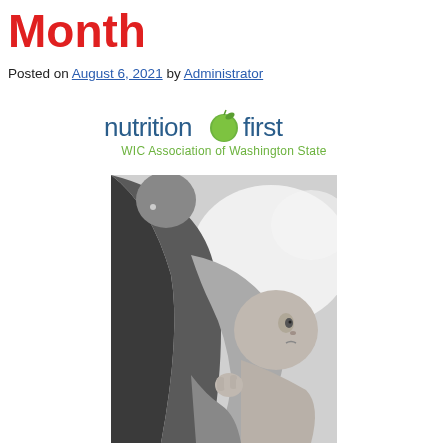Month
Posted on August 6, 2021 by Administrator
[Figure (logo): Nutrition First - WIC Association of Washington State logo with green apple]
[Figure (photo): Black and white photograph of a mother breastfeeding her baby]